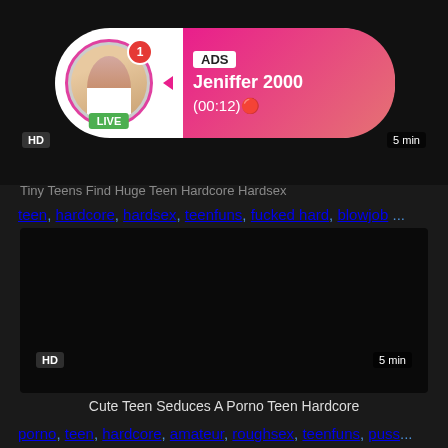[Figure (screenshot): Dark video thumbnail with HD badge and time badge showing partial video]
[Figure (infographic): Ad overlay bubble with avatar photo, LIVE badge, notification dot, ADS label, name Jeniffer 2000, time (00:12) on pink gradient background]
teen, hardcore, hardsex, teenfuns, fucked hard, blowjob ...
[Figure (screenshot): Dark/black video thumbnail with HD badge and 5 min time badge]
Cute Teen Seduces A Porno Teen Hardcore
porno, teen, hardcore, amateur, roughsex, teenfuns, puss...